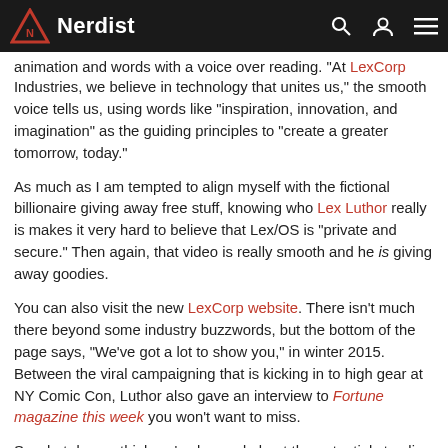Nerdist
animation and words with a voice over reading. “At LexCorp Industries, we believe in technology that unites us,” the smooth voice tells us, using words like “inspiration, innovation, and imagination” as the guiding principles to “create a greater tomorrow, today.”
As much as I am tempted to align myself with the fictional billionaire giving away free stuff, knowing who Lex Luthor really is makes it very hard to believe that Lex/OS is “private and secure.” Then again, that video is really smooth and he is giving away goodies.
You can also visit the new LexCorp website. There isn’t much there beyond some industry buzzwords, but the bottom of the page says, “We’ve got a lot to show you,” in winter 2015. Between the viral campaigning that is kicking in to high gear at NY Comic Con, Luthor also gave an interview to Fortune magazine this week you won’t want to miss.
So what do you think we’ve learned about the potential storyline for Lex Luthor in Batman v Superman: Dawn of Justice?